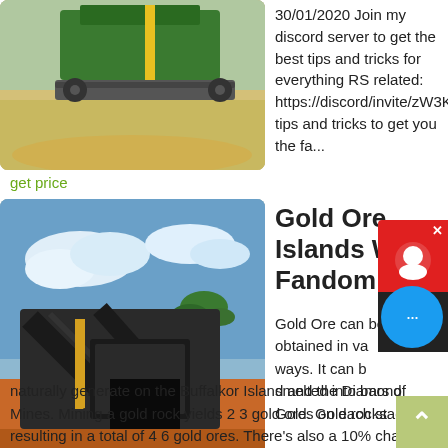[Figure (photo): Mining machinery with green conveyor belt on sandy ground]
30/01/2020 Join my discord server to get the best tips and tricks for everything RS related: https://discord/invite/zW3KtABRZNSome tips and tricks to get you the fa...
get price
[Figure (photo): Mining site with industrial machinery, orange soil, palm trees and blue sky with clouds]
Gold Ore Islands Wiki Fandom
Gold Ore can be obtained in various ways. It can be smelted into bars of Gold. Gold rocks naturally generate on the Buffalkor Island and the Diamond Mines. Mining a gold rock yields 2 3 gold ores on each stage, resulting in a total of 4 6 gold ores. There's also a 10% chance the rock drops Crystallized Gold. Gold ore used to be obtainable